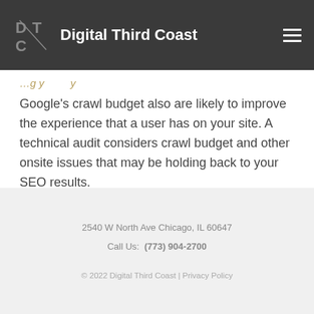Digital Third Coast
Google's crawl budget also are likely to improve the experience that a user has on your site. A technical audit considers crawl budget and other onsite issues that may be holding back to your SEO results.
2540 W North Ave Chicago, IL 60647
Call Us: (773) 904-2700
© 2022 Digital Third Coast | Privacy Policy